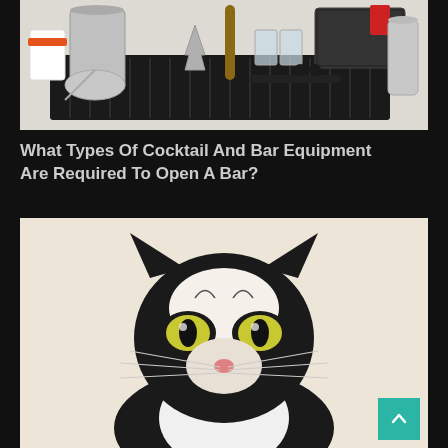[Figure (photo): Bar tools and cocktail equipment laid out on a black rubber bar mat, including shakers, jiggers, strainer, mixing glass, and other bartending accessories]
What Types Of Cocktail And Bar Equipment Are Required To Open A Bar?
[Figure (illustration): A detailed illustration/painting of a black and white tuxedo cat with yellow-green eyes, looking directly at the viewer against a light beige background]